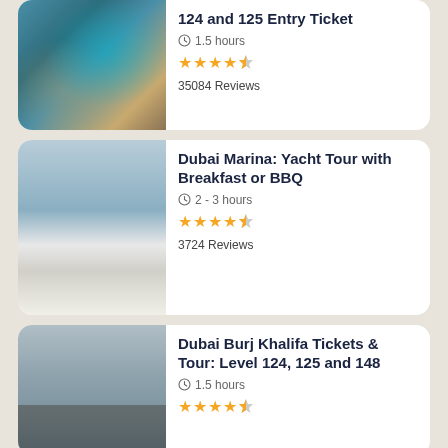[Figure (photo): Aerial view of Dubai skyline and waterway]
124 and 125 Entry Ticket
1.5 hours
35084 Reviews
[Figure (photo): Dubai Marina yacht with tall building in background]
Dubai Marina: Yacht Tour with Breakfast or BBQ
2 - 3 hours
3724 Reviews
[Figure (photo): Burj Khalifa view from observation deck with hazy skyline]
Dubai Burj Khalifa Tickets & Tour: Level 124, 125 and 148
1.5 hours